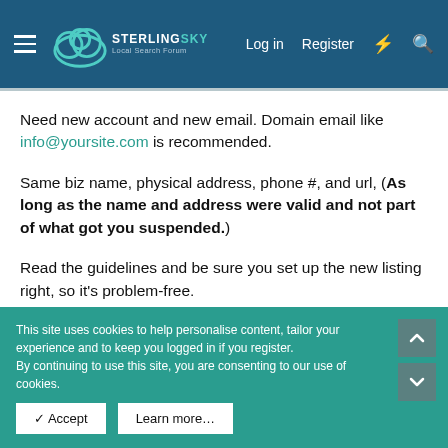Sterling Sky Local Search Forum — Log in | Register
Need new account and new email. Domain email like info@yoursite.com is recommended.
Same biz name, physical address, phone #, and url, (As long as the name and address were valid and not part of what got you suspended.)
Read the guidelines and be sure you set up the new listing right, so it's problem-free.
Good luck!
This site uses cookies to help personalise content, tailor your experience and to keep you logged in if you register. By continuing to use this site, you are consenting to our use of cookies.